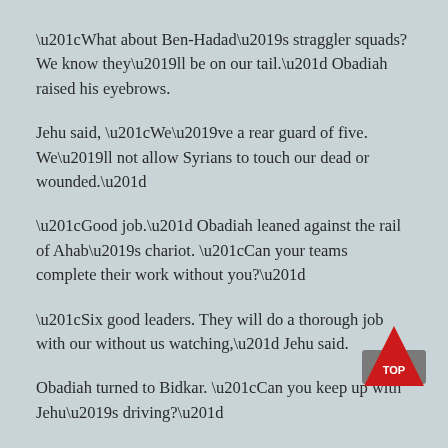“What about Ben-Hadad’s straggler squads? We know they’ll be on our tail.” Obadiah raised his eyebrows.
Jehu said, “We’ve a rear guard of five. We’ll not allow Syrians to touch our dead or wounded.”
“Good job.” Obadiah leaned against the rail of Ahab’s chariot. “Can your teams complete their work without you?”
“Six good leaders. They will do a thorough job with our without us watching,” Jehu said.
Obadiah turned to Bidkar. “Can you keep up with Jehu’s driving?”
Jehu flashed a grin, but Bidkar scowled. “When his